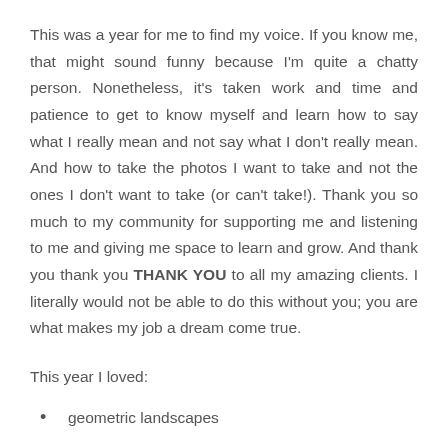This was a year for me to find my voice. If you know me, that might sound funny because I'm quite a chatty person. Nonetheless, it's taken work and time and patience to get to know myself and learn how to say what I really mean and not say what I don't really mean. And how to take the photos I want to take and not the ones I don't want to take (or can't take!). Thank you so much to my community for supporting me and listening to me and giving me space to learn and grow. And thank you thank you THANK YOU to all my amazing clients. I literally would not be able to do this without you; you are what makes my job a dream come true.
This year I loved:
geometric landscapes